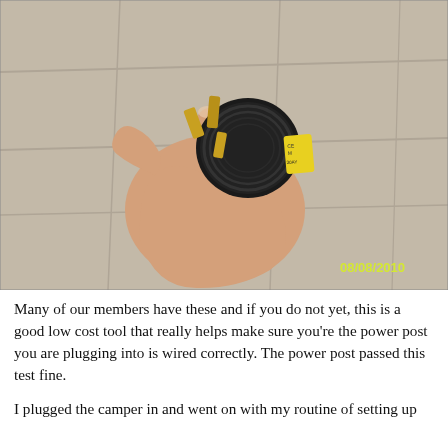[Figure (photo): A hand holding a black electrical plug adapter (30-amp RV power outlet tester) with gold-colored prongs and a yellow label/sticker visible on the side. The background is a concrete tile surface. A yellow date stamp '08/08/2010' appears in the lower right corner of the photo.]
Many of our members have these and if you do not yet, this is a good low cost tool that really helps make sure you're the power post you are plugging into is wired correctly. The power post passed this test fine.
I plugged the camper in and went on with my routine of setting up